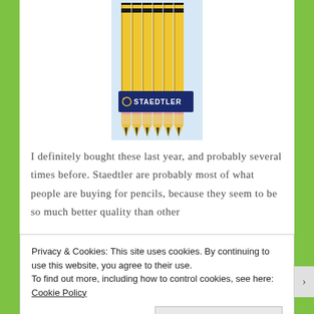[Figure (photo): A pack of Staedtler yellow pencils bundled together with a dark blue Staedtler branded label/band around them, photographed against a light background.]
I definitely bought these last year, and probably several times before. Staedtler are probably most of what people are buying for pencils, because they seem to be so much better quality than other
Privacy & Cookies: This site uses cookies. By continuing to use this website, you agree to their use.
To find out more, including how to control cookies, see here: Cookie Policy
Close and accept